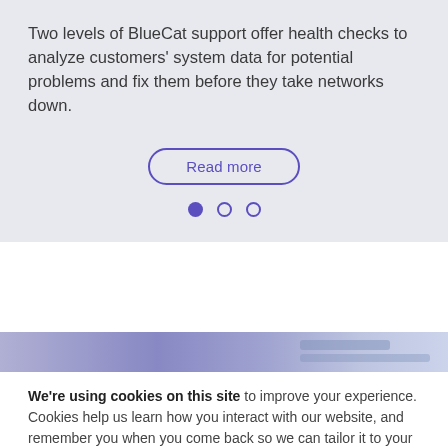Two levels of BlueCat support offer health checks to analyze customers' system data for potential problems and fix them before they take networks down.
[Figure (other): A pill-shaped button with purple border and text 'Read more']
[Figure (other): Carousel dots: one filled purple circle, two empty circles with purple border]
[Figure (other): A decorative banner with purple/blue gradient, partially visible]
We're using cookies on this site to improve your experience. Cookies help us learn how you interact with our website, and remember you when you come back so we can tailor it to your interests.